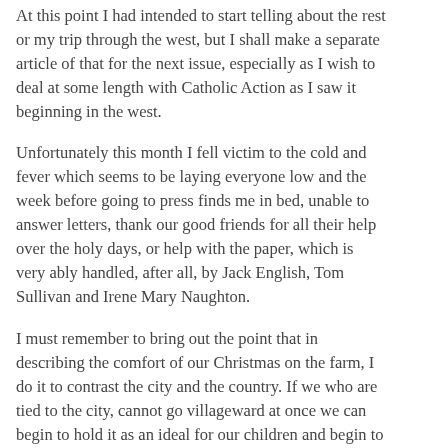people you are coming as the crowd retires at nine at night.
At this point I had intended to start telling about the rest or my trip through the west, but I shall make a separate article of that for the next issue, especially as I wish to deal at some length with Catholic Action as I saw it beginning in the west.
Unfortunately this month I fell victim to the cold and fever which seems to be laying everyone low and the week before going to press finds me in bed, unable to answer letters, thank our good friends for all their help over the holy days, or help with the paper, which is very ably handled, after all, by Jack English, Tom Sullivan and Irene Mary Naughton.
I must remember to bring out the point that in describing the comfort of our Christmas on the farm, I do it to contrast the city and the country. If we who are tied to the city, cannot go villageward at once we can begin to hold it as an ideal for our children and begin to educate them towards it.